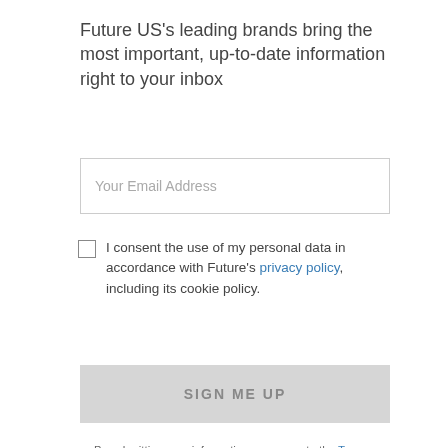Future US's leading brands bring the most important, up-to-date information right to your inbox
Your Email Address
I consent the use of my personal data in accordance with Future's privacy policy, including its cookie policy.
SIGN ME UP
By submitting your information you agree to the Terms & Conditions and Privacy Policy and are aged 16 or over.
MOST READ
[Figure (screenshot): TVTechnology advertisement banner: dark blue background with logo, text 'Find out what's happening in TV today, tomorrow, and in the future.' and orange 'SUBSCRIBE TODAY!' button]